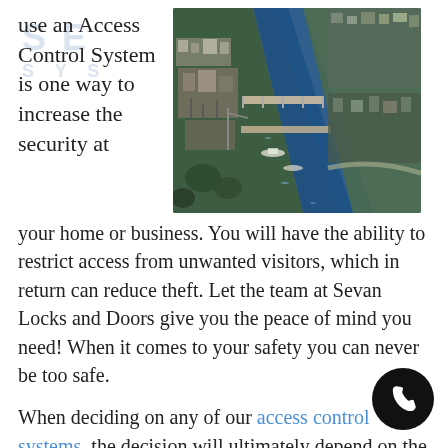use an Access Control System is one way to increase the security at
[Figure (photo): Aerial photograph of a waterway with industrial port, boats, bridges, and surrounding urban landscape.]
your home or business. You will have the ability to restrict access from unwanted visitors, which in return can reduce theft. Let the team at Sevan Locks and Doors give you the peace of mind you need! When it comes to your safety you can never be too safe.
When deciding on any of our access control systems, the decision will ultimately depend on the level of security that you are seeking. Our team of experts will proudly discuss with you all the options we have to choose from.